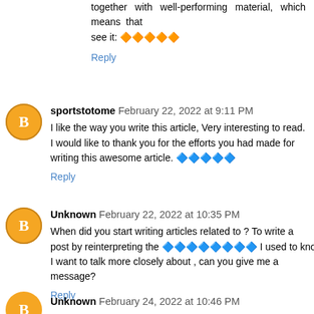together with well-performing material, which means that see it: 🔶🔶🔶🔶🔶
Reply
sportstotome  February 22, 2022 at 9:11 PM
I like the way you write this article, Very interesting to read. I would like to thank you for the efforts you had made for writing this awesome article. 🔷🔷🔷🔷🔷
Reply
Unknown  February 22, 2022 at 10:35 PM
When did you start writing articles related to ? To write a post by reinterpreting the 🔷🔷🔷🔷🔷🔷🔷🔷 I used to know is amazing. I want to talk more closely about , can you give me a message?
Reply
Unknown  February 24, 2022 at 10:46 PM